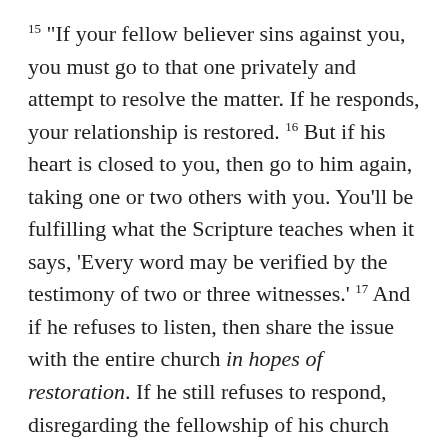15 "If your fellow believer sins against you, you must go to that one privately and attempt to resolve the matter. If he responds, your relationship is restored. 16 But if his heart is closed to you, then go to him again, taking one or two others with you. You'll be fulfilling what the Scripture teaches when it says, 'Every word may be verified by the testimony of two or three witnesses.' 17 And if he refuses to listen, then share the issue with the entire church in hopes of restoration. If he still refuses to respond, disregarding the fellowship of his church family, you must disregard him as though he were an outsider, on the same level as an unrepentant sinner.